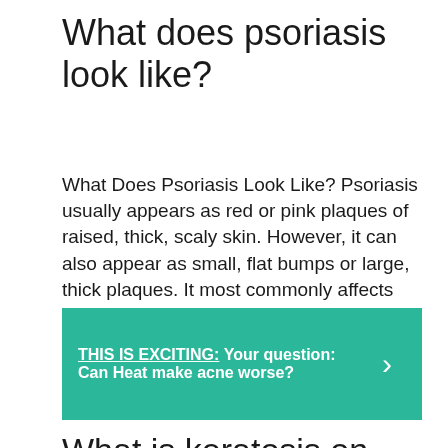What does psoriasis look like?
What Does Psoriasis Look Like? Psoriasis usually appears as red or pink plaques of raised, thick, scaly skin. However, it can also appear as small, flat bumps or large, thick plaques. It most commonly affects the skin on the elbows, knees, and scalp, though it can appear anywhere on the body.
THIS IS EXCITING:  Your question: Can Heat make acne worse?
What is keratosis on face?